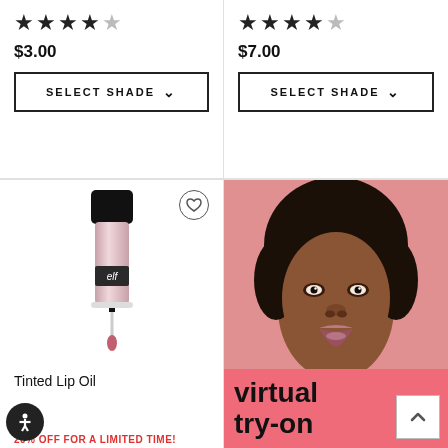★★★★½ (rating)
$3.00
SELECT SHADE
★★★★☆ (rating)
$7.00
SELECT SHADE
[Figure (photo): e.l.f. Tinted Lip Oil product photo — a lip gloss tube with applicator wand, black cap, clear tube with pink/rose tinted gloss]
Tinted Lip Oil
20% OFF FOR A LIMITED TIME!
[Figure (photo): Model photo — young Black woman with short natural hair, wearing glossy lip product, against a peach/pink background; part of e.l.f. virtual try-on feature section]
virtual try-on